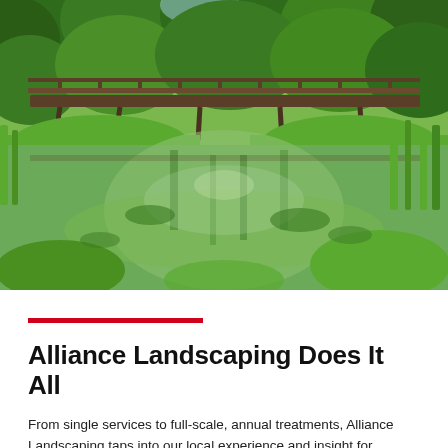[Figure (photo): Landscape photo of a wooden footbridge over a calm, green-algae-covered pond or river, surrounded by lush green trees and vegetation on a sunny day.]
Alliance Landscaping Does It All
From single services to full-scale, annual treatments, Alliance Landscaping taps into our local experience and insight for